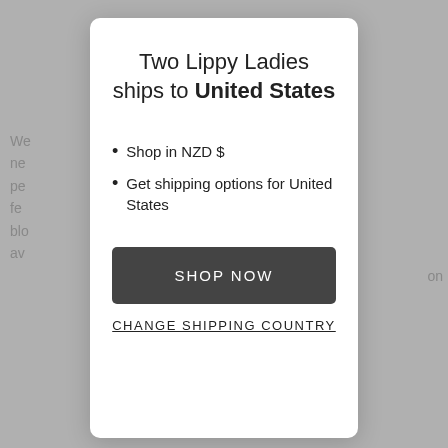Two Lippy Ladies ships to United States
Shop in NZD $
Get shipping options for United States
SHOP NOW
CHANGE SHIPPING COUNTRY